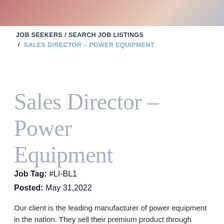[Figure (photo): Decorative header banner with gradient colors: rose, peach, and blue-gray tones]
JOB SEEKERS / SEARCH JOB LISTINGS / SALES DIRECTOR – POWER EQUIPMENT
Sales Director – Power Equipment
Job Tag: #LI-BL1
Posted: May 31,2022
Our client is the leading manufacturer of power equipment in the nation. They sell their premium product through dealers and distribution. They are seeking to hire a head of sales